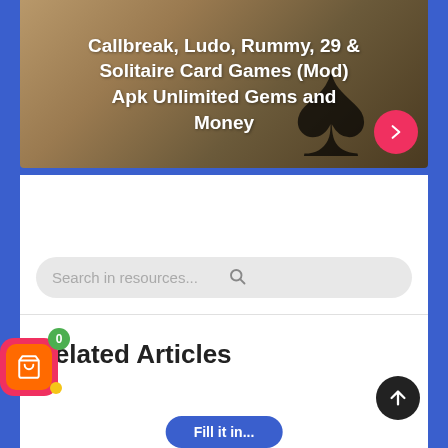[Figure (screenshot): Hero banner with tan/brown gradient background showing a spade card symbol, with white bold text overlay]
Callbreak, Ludo, Rummy, 29 & Solitaire Card Games (Mod) Apk Unlimited Gems and Money
Search in resources...
Related Articles